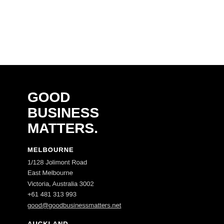[Figure (logo): Good Business Matters logo — bold white uppercase stacked text on black background]
MELBOURNE
1/128 Jolimont Road
East Melbourne
Victoria, Australia 3002
+61 481 313 993
good@goodbusinessmatters.net
AUCKLAND
Level 2, 1 Cross Street
Auckland, New Zealand 1010
+64 9 373 5086